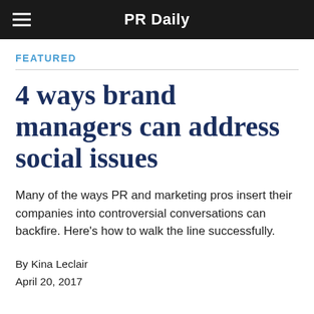PR Daily
FEATURED
4 ways brand managers can address social issues
Many of the ways PR and marketing pros insert their companies into controversial conversations can backfire. Here's how to walk the line successfully.
By Kina Leclair
April 20, 2017